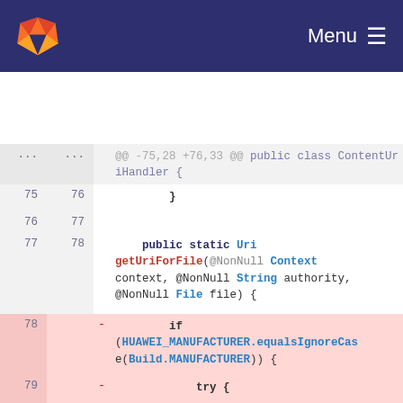GitLab Menu
[Figure (screenshot): GitLab code diff view showing changes to ContentUriHandler.java. Lines 75-81 shown with deletions (red background) removing a Huawei manufacturer check with try/catch block, and line 79 added (green background) with a direct getUriForFile call.]